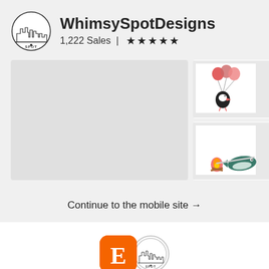[Figure (logo): WhimsySpotDesigns circular logo with city skyline illustration]
WhimsySpotDesigns
1,222 Sales ★★★★★
[Figure (photo): Large grey placeholder image on left side]
[Figure (photo): Top right: illustration of a puffin bird holding pink/red balloons on a white card on a shelf]
[Figure (photo): Bottom right: illustration of a narwhal toasting marshmallow over campfire on a white card on a shelf]
Continue to the mobile site →
[Figure (logo): Etsy orange square logo with E overlapping WhimsySpotDesigns circular logo]
Shop update — coming the